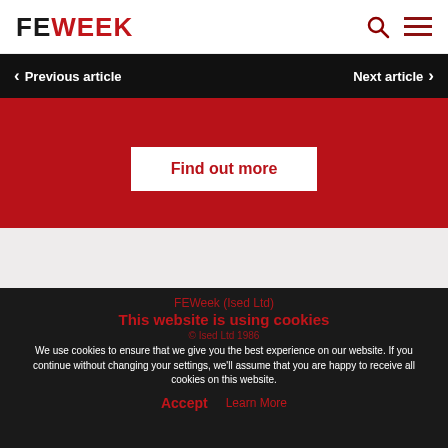FE WEEK
Previous article
Next article
[Figure (other): Red promotional banner with 'Find out more' button]
FEWeek (Ised Ltd)
This website is using cookies
© Ised Ltd 1986
We use cookies to ensure that we give you the best experience on our website. If you continue without changing your settings, we'll assume that you are happy to receive all cookies on this website.
Accept   Learn More